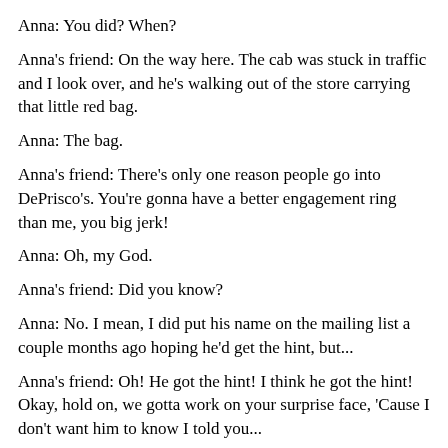Anna: You did? When?
Anna's friend: On the way here. The cab was stuck in traffic and I look over, and he's walking out of the store carrying that little red bag.
Anna: The bag.
Anna's friend: There's only one reason people go into DePrisco's. You're gonna have a better engagement ring than me, you big jerk!
Anna: Oh, my God.
Anna's friend: Did you know?
Anna: No. I mean, I did put his name on the mailing list a couple months ago hoping he'd get the hint, but...
Anna's friend: Oh! He got the hint! I think he got the hint! Okay, hold on, we gotta work on your surprise face, 'Cause I don't want him to know I told you...
Anna: Okay, ask me.
Anna's friend: Ready? Will you marry me?